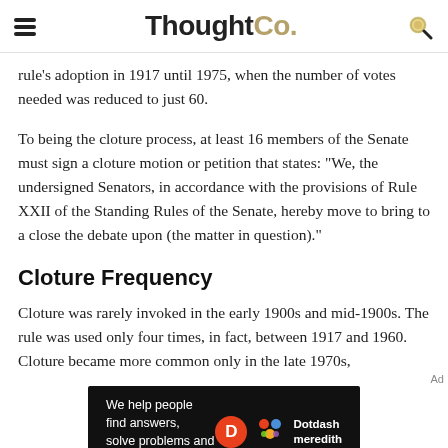ThoughtCo.
Rule's adoption in 1917 until 1975, when the number of votes needed was reduced to just 60.
To being the cloture process, at least 16 members of the Senate must sign a cloture motion or petition that states: "We, the undersigned Senators, in accordance with the provisions of Rule XXII of the Standing Rules of the Senate, hereby move to bring to a close the debate upon (the matter in question)."
Cloture Frequency
Cloture was rarely invoked in the early 1900s and mid-1900s. The rule was used only four times, in fact, between 1917 and 1960. Cloture became more common only in the late 1970s,
[Figure (other): Dotdash Meredith advertisement banner: 'We help people find answers, solve problems and get inspired.' with Dotdash Meredith logo.]